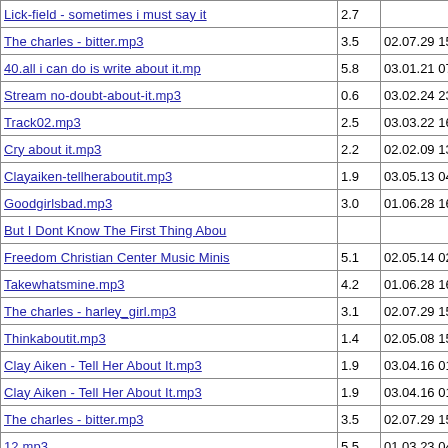| Name | Size | Date | Link |
| --- | --- | --- | --- |
| Lick-field - sometimes i must say it | 2.7 |  | L |
| The charles - bitter.mp3 | 3.5 | 02.07.29 15:17:26 | Th |
| 40.all i can do is write about it.mp | 5.8 | 03.01.21 07:04:26 | Si |
| Stream no-doubt-about-it.mp3 | 0.6 | 03.02.24 23:01:33 | C |
| Track02.mp3 | 2.5 | 03.03.22 16:42:29 | Pe |
| Cry about it.mp3 | 2.2 | 02.02.09 13:26:11 |  |
| Clayaiken-tellheraboutit.mp3 | 1.9 | 03.05.13 04:07:21 | C |
| Goodgirlsbad.mp3 | 3.0 | 01.06.28 16:04:06 | G |
| But I Dont Know The First Thing Abou |  |  |  |
| Freedom Christian Center Music Minis | 5.1 | 02.05.14 02:45:16 | Fr |
| Takewhatsmine.mp3 | 4.2 | 01.06.28 16:04:19 | N |
| The charles - harley_girl.mp3 | 3.1 | 02.07.29 15:17:26 | Th |
| Thinkaboutit.mp3 | 1.4 | 02.05.08 15:38:41 | To |
| Clay Aiken - Tell Her About It.mp3 | 1.9 | 03.04.16 01:35:56 | C |
| Clay Aiken - Tell Her About It.mp3 | 1.9 | 03.04.16 01:35:56 | C |
| The charles - bitter.mp3 | 3.5 | 02.07.29 15:17:26 | Th |
| 12.mp3 | 5.5 | 01.03.23 04:05:50 | Je |
| Won't Talk About It.mp3 | 4.5 | 03.05.11 16:51:14 |  |
| Laughing about it.mp3 | 4.2 | 02.12.02 09:02:27 |  |